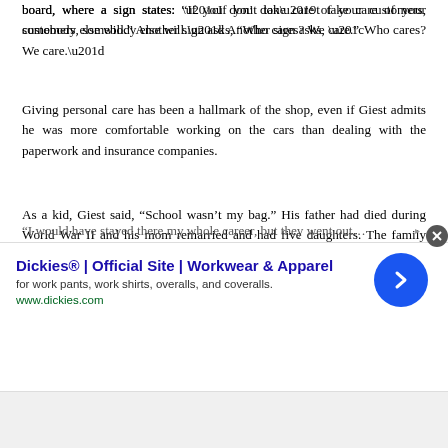board, where a sign states: “If you don’t take care of your customers, somebody else will.” Another sign asks, “Who cares? We care.”
Giving personal care has been a hallmark of the shop, even if Giest admits he was more comfortable working on the cars than dealing with the paperwork and insurance companies.
As a kid, Giest said, “School wasn’t my bag.” His father had died during World War II and his mom remarried and had five daughters. The family moved a lot. It was a decision in 1961 to enroll in the Wolverine Trade School that set Giest on his career path. His certificate still hangs on the wall of the shop. For many years, he worked for Rittenhouse Motors, a Maumee body shop located where Appliance Center now resides.
“I would have stayed there my whole career, but they went out...
[Figure (other): Advertisement banner for Dickies workwear. Title: 'Dickies® | Official Site | Workwear & Apparel'. Description: 'for work pants, work shirts, overalls, and coveralls.' URL: www.dickies.com. Blue circular arrow button on right side.]